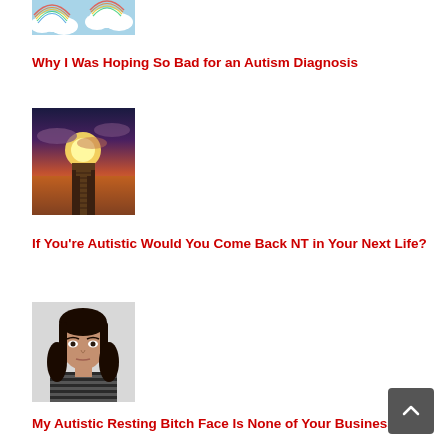[Figure (photo): Rainbow clouds illustration - top of page, partially visible]
Why I Was Hoping So Bad for an Autism Diagnosis
[Figure (photo): Wooden pier extending toward a bright sunset over the ocean with dramatic clouds]
If You're Autistic Would You Come Back NT in Your Next Life?
[Figure (photo): Young Asian woman with long dark hair wearing a striped top, neutral expression against light background]
My Autistic Resting Bitch Face Is None of Your Business